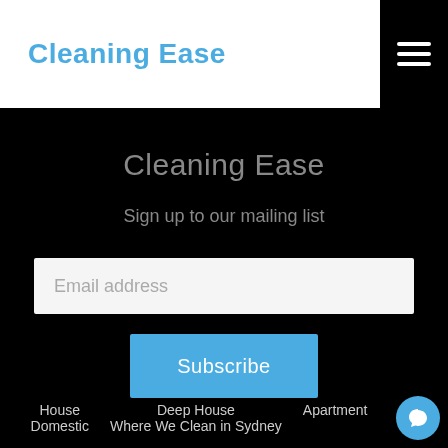Cleaning Ease
Cleaning Ease
Sign up to our mailing list
Email address
Subscribe
House
Domestic
Deep House
Where We Clean in Sydney
Apartment